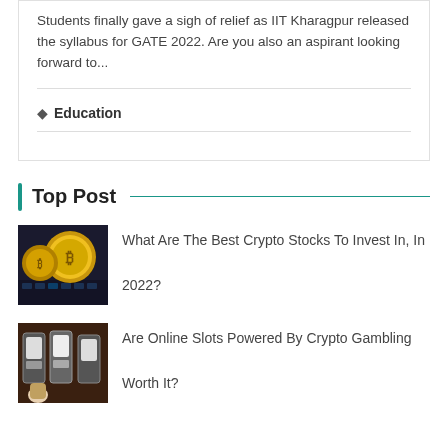Students finally gave a sigh of relief as IIT Kharagpur released the syllabus for GATE 2022. Are you also an aspirant looking forward to...
Education
Top Post
[Figure (photo): Gold Bitcoin coins on dark keyboard background]
What Are The Best Crypto Stocks To Invest In, In 2022?
[Figure (photo): Casino slot machines with people playing]
Are Online Slots Powered By Crypto Gambling Worth It?